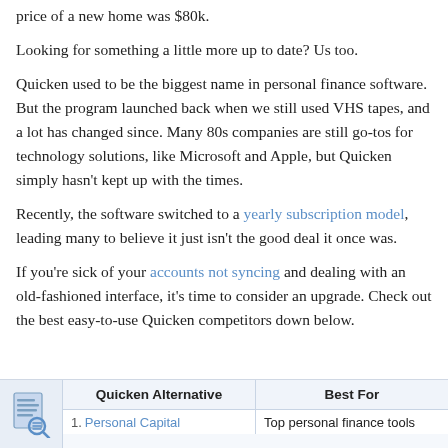price of a new home was $80k.
Looking for something a little more up to date? Us too.
Quicken used to be the biggest name in personal finance software. But the program launched back when we still used VHS tapes, and a lot has changed since. Many 80s companies are still go-tos for technology solutions, like Microsoft and Apple, but Quicken simply hasn't kept up with the times.
Recently, the software switched to a yearly subscription model, leading many to believe it just isn't the good deal it once was.
If you're sick of your accounts not syncing and dealing with an old-fashioned interface, it's time to consider an upgrade. Check out the best easy-to-use Quicken competitors down below.
| Quicken Alternative | Best For |
| --- | --- |
| 1. Personal Capital | Top personal finance tools |